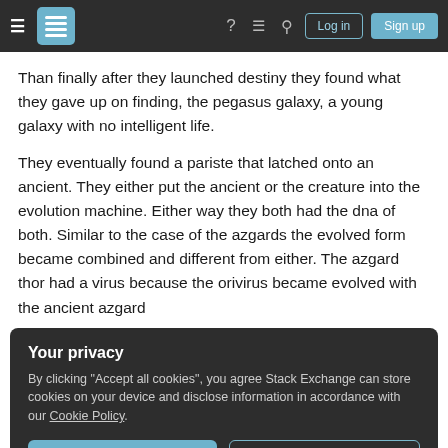Stack Exchange navigation bar with hamburger menu, logo, help, chat, search icons, Log in and Sign up buttons
Than finally after they launched destiny they found what they gave up on finding, the pegasus galaxy, a young galaxy with no intelligent life.
They eventually found a pariste that latched onto an ancient. They either put the ancient or the creature into the evolution machine. Either way they both had the dna of both. Similar to the case of the azgards the evolved form became combined and different from either. The azgard thor had a virus because the orivirus became evolved with the ancient azgard
Your privacy
By clicking "Accept all cookies", you agree Stack Exchange can store cookies on your device and disclose information in accordance with our Cookie Policy.
least part of the virus became part of the dna. At